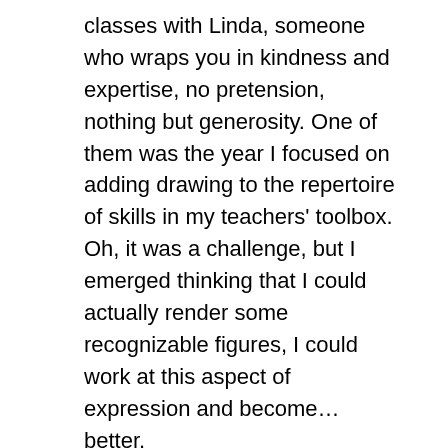classes with Linda, someone who wraps you in kindness and expertise, no pretension, nothing but generosity. One of them was the year I focused on adding drawing to the repertoire of skills in my teachers' toolbox. Oh, it was a challenge, but I emerged thinking that I could actually render some recognizable figures, I could work at this aspect of expression and become…better.
I returned to my classes that year committed to give my struggle to my students as evidence of what we now call “growth mindset,” and we drew together; it drew us together.
Another summer session focused more on developing the writer’s notebook, more within my comfort zone.